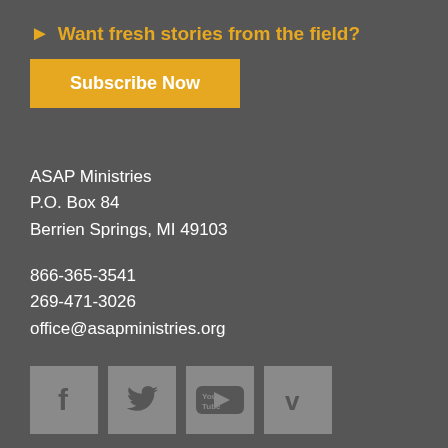Want fresh stories from the field?
Subscribe Now
ASAP Ministries
P.O. Box 84
Berrien Springs, MI 49103
866-365-3541
269-471-3026
office@asapministries.org
[Figure (infographic): Four social media icons: Facebook (f), Twitter (bird), YouTube (You Tube), Vimeo (v), displayed as gray square buttons]
© 2022 ASAP Ministries | Privacy Policy